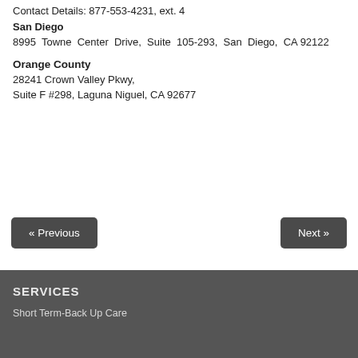Contact Details: 877-553-4231, ext. 4
San Diego
8995 Towne Center Drive, Suite 105-293, San Diego, CA 92122
Orange County
28241 Crown Valley Pkwy,
Suite F #298, Laguna Niguel, CA 92677
« Previous
Next »
SERVICES
Short Term-Back Up Care